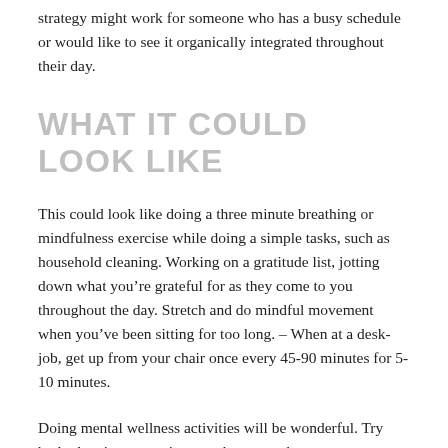strategy might work for someone who has a busy schedule or would like to see it organically integrated throughout their day.
WHAT IT COULD LOOK LIKE
This could look like doing a three minute breathing or mindfulness exercise while doing a simple tasks, such as household cleaning. Working on a gratitude list, jotting down what you’re grateful for as they come to you throughout the day. Stretch and do mindful movement when you’ve been sitting for too long. – When at a desk-job, get up from your chair once every 45-90 minutes for 5-10 minutes.
Doing mental wellness activities will be wonderful. Try both planning strategies, or other ways that you